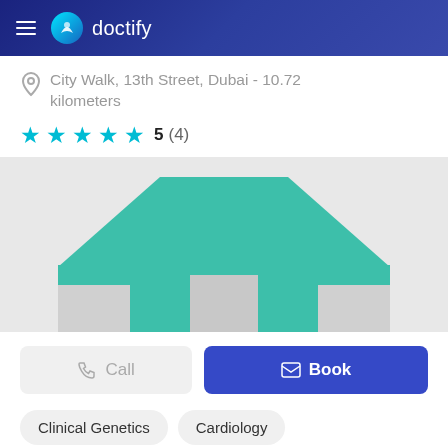doctify
City Walk, 13th Street, Dubai - 10.72 kilometers
5 (4)
[Figure (illustration): Teal/green clinic building illustration with a house-shaped roof and grey base with door]
Call
Book
Clinical Genetics
Cardiology
Dentistry
+ 16 more